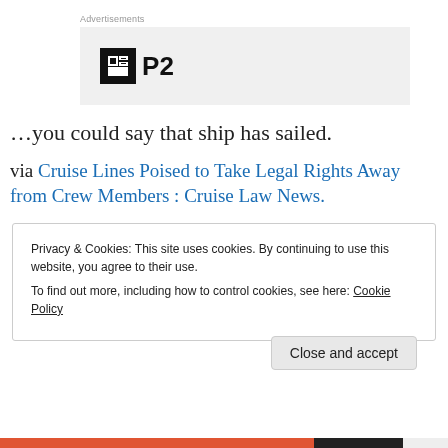[Figure (logo): P2 advertisement logo with black square icon containing white window/grid symbol and bold P2 text]
…you could say that ship has sailed.
via Cruise Lines Poised to Take Legal Rights Away from Crew Members : Cruise Law News.
Privacy & Cookies: This site uses cookies. By continuing to use this website, you agree to their use.
To find out more, including how to control cookies, see here: Cookie Policy
Close and accept